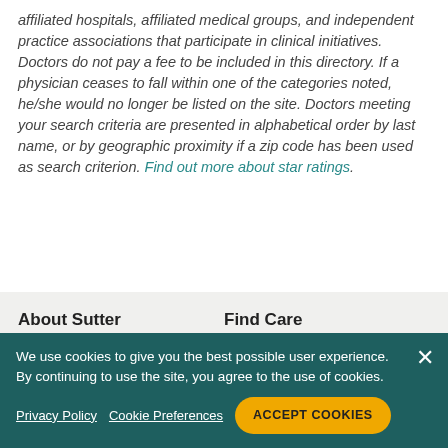affiliated hospitals, affiliated medical groups, and independent practice associations that participate in clinical initiatives. Doctors do not pay a fee to be included in this directory. If a physician ceases to fall within one of the categories noted, he/she would no longer be listed on the site. Doctors meeting your search criteria are presented in alphabetical order by last name, or by geographic proximity if a zip code has been used as search criterion. Find out more about star ratings.
About Sutter
Find Care
We use cookies to give you the best possible user experience. By continuing to use the site, you agree to the use of cookies.
Privacy Policy  Cookie Preferences  ACCEPT COOKIES